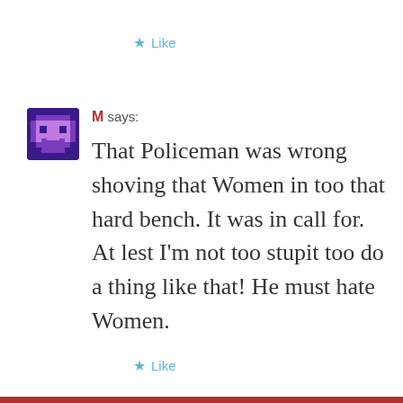★ Like
[Figure (illustration): Purple/dark blue pixel avatar icon with a stylized face]
M says:
That Policeman was wrong shoving that Women in too that hard bench. It was in call for. At lest I'm not too stupit too do a thing like that! He must hate Women.
★ Like